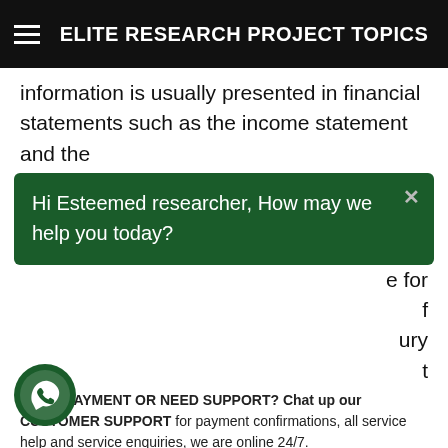ELITE RESEARCH PROJECT TOPICS
information is usually presented in financial statements such as the income statement and the
Hi Esteemed researcher, How may we help you today?
MADE PAYMENT OR NEED SUPPORT? Chat up our CUSTOMER SUPPORT for payment confirmations, all service help and service enquiries, we are online 24/7.
[Figure (logo): WhatsApp icon with green background and white phone symbol]
Elite project customer care
Miracle
ch a system it will be very difficult for SMEs to determine rmance, identify customer and supplier account ces and forecast future performance of the organization. The primary purpose of an accounting